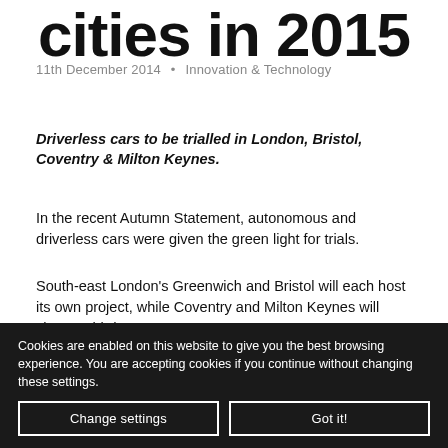cities in 2015
11th December 2014 • Innovation & Technology
Driverless cars to be trialled in London, Bristol, Coventry & Milton Keynes.
In the recent Autumn Statement, autonomous and driverless cars were given the green light for trials.
South-east London's Greenwich and Bristol will each host its own project, while Coventry and Milton Keynes will share a third.
Cookies are enabled on this website to give you the best browsing experience. You are accepting cookies if you continue without changing these settings.
Change settings
Got it!